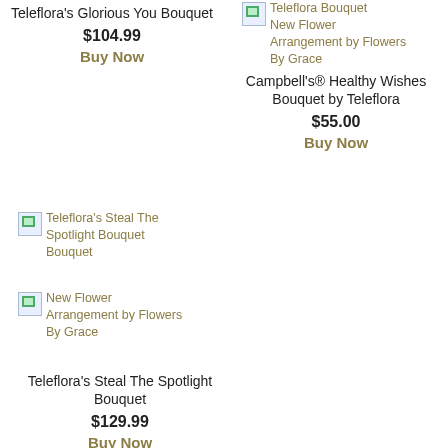Teleflora's Glorious You Bouquet
$104.99
Buy Now
[Figure (illustration): Broken image placeholder for Teleflora Bouquet New Flower Arrangement by Flowers By Grace]
Campbell's® Healthy Wishes Bouquet by Teleflora
$55.00
Buy Now
[Figure (illustration): Broken image placeholder for Teleflora's Steal The Spotlight Bouquet]
[Figure (illustration): Broken image placeholder for New Flower Arrangement by Flowers By Grace]
Teleflora's Steal The Spotlight Bouquet
$129.99
Buy Now